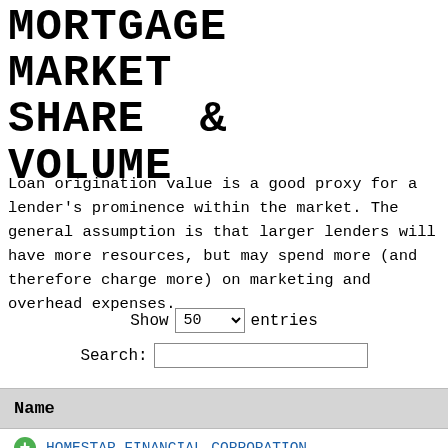MORTGAGE MARKET SHARE & VOLUME
Loan origination value is a good proxy for a lender's prominence within the market. The general assumption is that larger lenders will have more resources, but may spend more (and therefore charge more) on marketing and overhead expenses.
Show 50 entries
Search:
| Name |
| --- |
| HOMESTAR FINANCIAL CORPORATION |